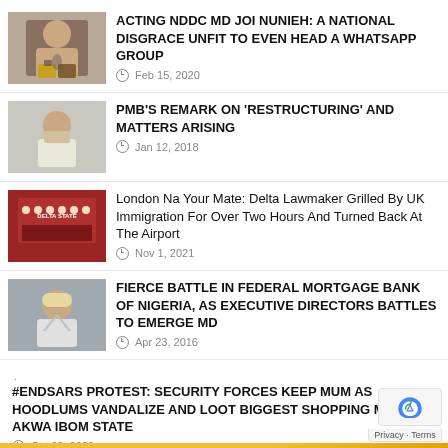[Figure (photo): Woman with microphone, news thumbnail]
ACTING NDDC MD JOI NUNIEH: A NATIONAL DISGRACE UNFIT TO EVEN HEAD A WHATSAPP GROUP
Feb 15, 2020
[Figure (photo): Man in white clothing seated, news thumbnail]
PMB'S REMARK ON 'RESTRUCTURING' AND MATTERS ARISING
Jan 12, 2018
[Figure (photo): Group of people in ceremonial attire, Delta State sign, news thumbnail]
London Na Your Mate: Delta Lawmaker Grilled By UK Immigration For Over Two Hours And Turned Back At The Airport
Nov 1, 2021
[Figure (photo): Man raising hand in salute, news thumbnail]
FIERCE BATTLE IN FEDERAL MORTGAGE BANK OF NIGERIA, AS EXECUTIVE DIRECTORS BATTLES TO EMERGE MD
Apr 23, 2016
#ENDSARS PROTEST: SECURITY FORCES KEEP MUM AS HOODLUMS VANDALIZE AND LOOT BIGGEST SHOPPING MALL IN AKWA IBOM STATE
Oct 23, 2020